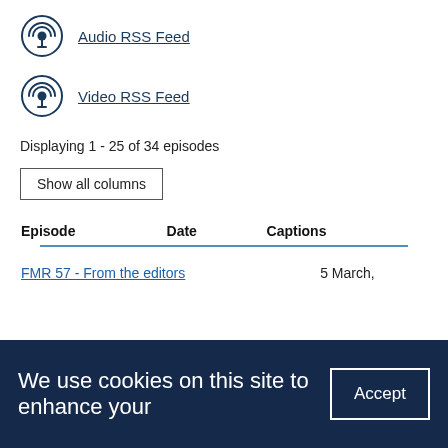Audio RSS Feed
Video RSS Feed
Displaying 1 - 25 of 34 episodes
Show all columns
| Episode | Date | Captions |
| --- | --- | --- |
| FMR 57 - From the editors | 5 March, |  |
We use cookies on this site to enhance your